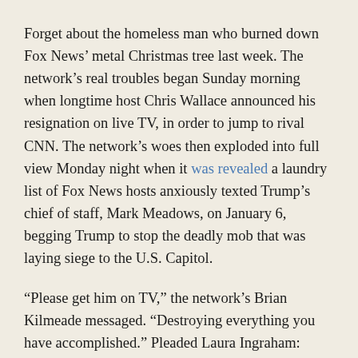Forget about the homeless man who burned down Fox News' metal Christmas tree last week. The network's real troubles began Sunday morning when longtime host Chris Wallace announced his resignation on live TV, in order to jump to rival CNN. The network's woes then exploded into full view Monday night when it was revealed a laundry list of Fox News hosts anxiously texted Trump's chief of staff, Mark Meadows, on January 6, begging Trump to stop the deadly mob that was laying siege to the U.S. Capitol.
“Please get him on TV,” the network’s Brian Kilmeade messaged. “Destroying everything you have accomplished.” Pleaded Laura Ingraham: “Mark, the president needs to tell people in the Capitol to go home. This is hurting all of us. He is destroying his legacy.”